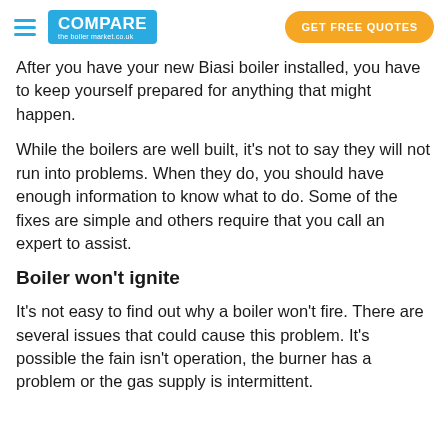COMPARE the boiler market.co.uk | GET FREE QUOTES
After you have your new Biasi boiler installed, you have to keep yourself prepared for anything that might happen.
While the boilers are well built, it's not to say they will not run into problems. When they do, you should have enough information to know what to do. Some of the fixes are simple and others require that you call an expert to assist.
Boiler won't ignite
It's not easy to find out why a boiler won't fire. There are several issues that could cause this problem. It's possible the fain isn't operation, the burner has a problem or the gas supply is intermittent.